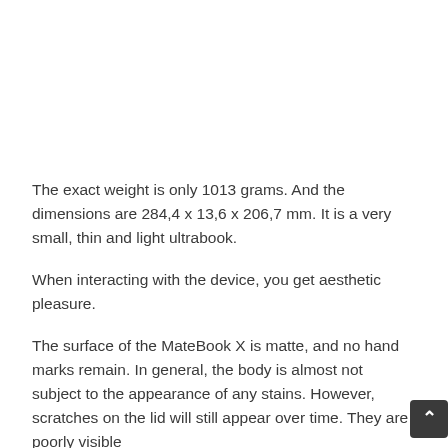The exact weight is only 1013 grams. And the dimensions are 284,4 x 13,6 x 206,7 mm. It is a very small, thin and light ultrabook.
When interacting with the device, you get aesthetic pleasure.
The surface of the MateBook X is matte, and no hand marks remain. In general, the body is almost not subject to the appearance of any stains. However, scratches on the lid will still appear over time. They are poorly visible